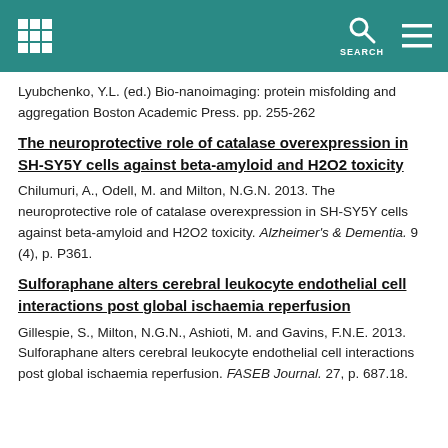SEARCH
Lyubchenko, Y.L. (ed.) Bio-nanoimaging: protein misfolding and aggregation Boston Academic Press. pp. 255-262
The neuroprotective role of catalase overexpression in SH-SY5Y cells against beta-amyloid and H2O2 toxicity
Chilumuri, A., Odell, M. and Milton, N.G.N. 2013. The neuroprotective role of catalase overexpression in SH-SY5Y cells against beta-amyloid and H2O2 toxicity. Alzheimer's & Dementia. 9 (4), p. P361.
Sulforaphane alters cerebral leukocyte endothelial cell interactions post global ischaemia reperfusion
Gillespie, S., Milton, N.G.N., Ashioti, M. and Gavins, F.N.E. 2013. Sulforaphane alters cerebral leukocyte endothelial cell interactions post global ischaemia reperfusion. FASEB Journal. 27, p. 687.18.